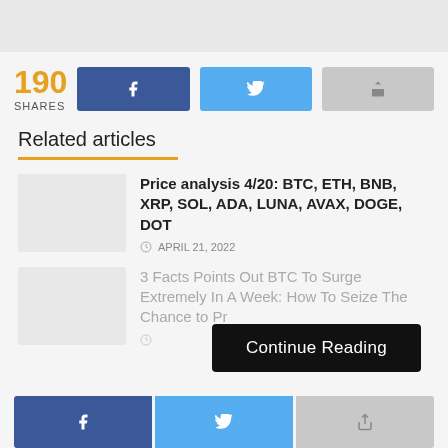190 SHARES [Facebook share button] [Twitter share button] [Share button]
Related articles
Price analysis 4/20: BTC, ETH, BNB, XRP, SOL, ADA, LUNA, AVAX, DOGE, DOT
APRIL 21, 2022
3 Facts Points Out BTC To Surge Extremely In A Week: How To Seize The Chance to Pr...
Continue Reading
[Facebook share button] [Twitter share button] [Share button]